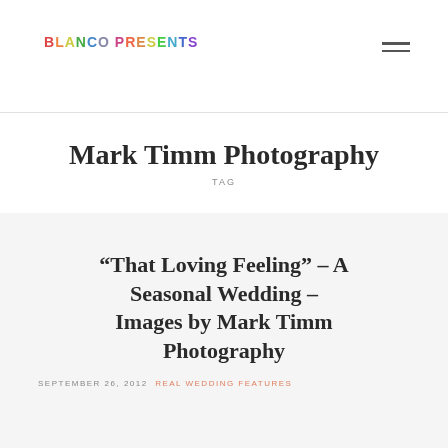BLANCO PRESENTS
Mark Timm Photography
TAG
“That Loving Feeling” – A Seasonal Wedding – Images by Mark Timm Photography
SEPTEMBER 26, 2012  REAL WEDDING FEATURES